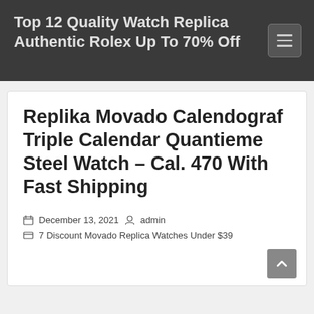Top 12 Quality Watch Replica Authentic Rolex Up To 70% Off
Replika Movado Calendograf Triple Calendar Quantieme Steel Watch – Cal. 470 With Fast Shipping
December 13, 2021  admin  7 Discount Movado Replica Watches Under $39